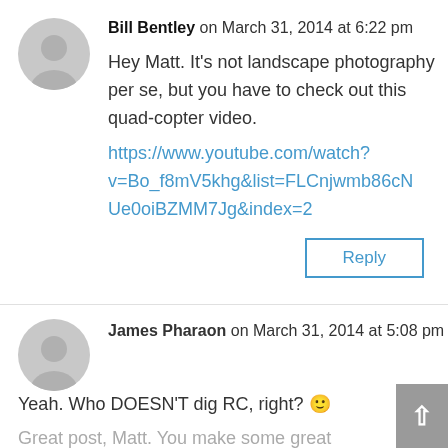Bill Bentley on March 31, 2014 at 6:22 pm
Hey Matt. It's not landscape photography per se, but you have to check out this quad-copter video.
https://www.youtube.com/watch?v=Bo_f8mV5khg&list=FLCnjwmb86cNUe0oiBZMM7Jg&index=2
Reply
James Pharaon on March 31, 2014 at 5:08 pm
Yeah. Who DOESN'T dig RC, right? 🙂
Great post, Matt. You make some great